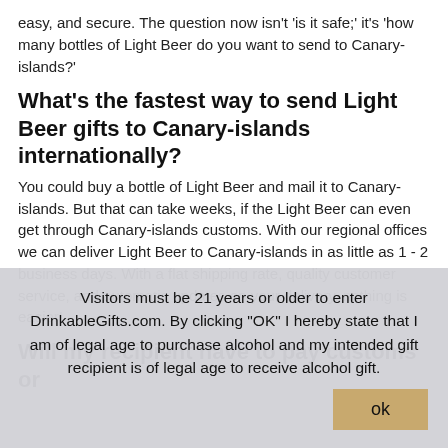easy, and secure. The question now isn't 'is it safe;' it's 'how many bottles of Light Beer do you want to send to Canary-islands?'
What's the fastest way to send Light Beer gifts to Canary-islands internationally?
You could buy a bottle of Light Beer and mail it to Canary-islands. But that can take weeks, if the Light Beer can even get through Canary-islands customs. With our regional offices we can deliver Light Beer to Canary-islands in as little as 1 - 2 business days. With a flat shipping rate, quality customer service, and automatic updates on your delivery, nothing is easier!
Will my recipient have to pay customs or
Visitors must be 21 years or older to enter DrinkableGifts.com. By clicking "OK" I hereby state that I am of legal age to purchase alcohol and my intended gift recipient is of legal age to receive alcohol gift.